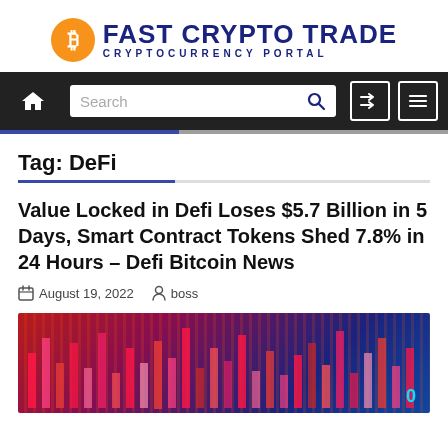[Figure (logo): Fast Crypto Trade - Cryptocurrency Portal logo with orange Bitcoin circle icon and dark blue bold text]
[Figure (screenshot): Navigation bar with home icon, search box, shuffle icon, and menu icon on dark background]
Tag: DeFi
Value Locked in Defi Loses $5.7 Billion in 5 Days, Smart Contract Tokens Shed 7.8% in 24 Hours – Defi Bitcoin News
August 19, 2022   boss
[Figure (photo): Red and pink glowing cryptocurrency candlestick chart bars on dark digital background with blue tones]